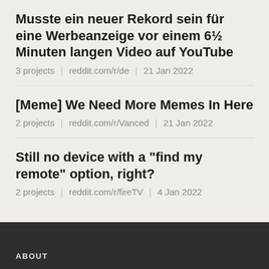Musste ein neuer Rekord sein für eine Werbeanzeige vor einem 6½ Minuten langen Video auf YouTube
3 projects | reddit.com/r/de | 21 Jan 2022
[Meme] We Need More Memes In Here
2 projects | reddit.com/r/Vanced | 21 Jan 2022
Still no device with a "find my remote" option, right?
2 projects | reddit.com/r/fireTV | 4 Jan 2022
ABOUT